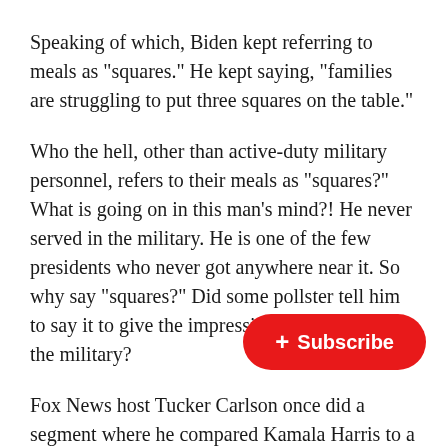Speaking of which, Biden kept referring to meals as “squares.” He kept saying, “families are struggling to put three squares on the table.”
Who the hell, other than active-duty military personnel, refers to their meals as “squares?” What is going on in this man’s mind?! He never served in the military. He is one of the few presidents who never got anywhere near it. So why say “squares?” Did some pollster tell him to say it to give the impression that he was in the military?
Fox News host Tucker Carlson once did a segment where he compared Kamala Harris to a Twinkie—not because she was sweet or looked like one, but because she was that fake.
Yet Harris is just an easy target. The truth is that they